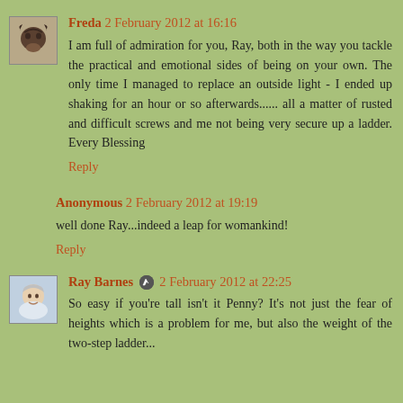Freda 2 February 2012 at 16:16
I am full of admiration for you, Ray, both in the way you tackle the practical and emotional sides of being on your own. The only time I managed to replace an outside light - I ended up shaking for an hour or so afterwards...... all a matter of rusted and difficult screws and me not being very secure up a ladder. Every Blessing
Reply
Anonymous 2 February 2012 at 19:19
well done Ray...indeed a leap for womankind!
Reply
Ray Barnes 2 February 2012 at 22:25
So easy if you're tall isn't it Penny? It's not just the fear of heights which is a problem for me, but also the weight of the two-step ladder...